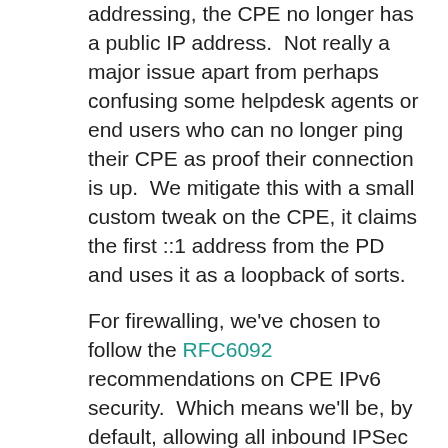addressing, the CPE no longer has a public IP address.  Not really a major issue apart from perhaps confusing some helpdesk agents or end users who can no longer ping their CPE as proof their connection is up.  We mitigate this with a small custom tweak on the CPE, it claims the first ::1 address from the PD and uses it as a loopback of sorts.
For firewalling, we've chosen to follow the RFC6092 recommendations on CPE IPv6 security.  Which means we'll be, by default, allowing all inbound IPSec but blocking all other non-solicited inbound traffic.
That poses an issue that we haven't really resolved, and I'm unsure as to what the exact impact will be.  As a result of NAT on IPv4 a lot of applications